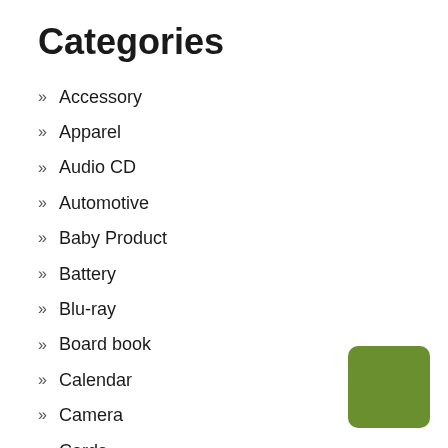Categories
Accessory
Apparel
Audio CD
Automotive
Baby Product
Battery
Blu-ray
Board book
Calendar
Camera
Cards
[Figure (illustration): Green rounded square button in bottom-right corner]